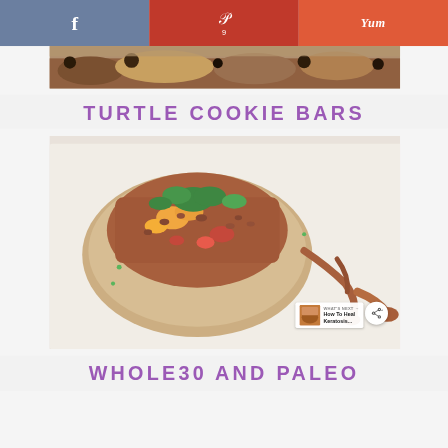[Figure (screenshot): Social sharing bar with Facebook (blue-grey), Pinterest (red, count 9), and Yummly (orange-red) buttons]
[Figure (photo): Close-up food photo showing baked goods, likely cookie bars with oats and chocolate chips, top strip]
TURTLE COOKIE BARS
[Figure (photo): Close-up food photo of a stuffed baked potato or bread topped with meat sauce, orange and red peppers, and fresh green herbs (cilantro/parsley), with a spoon of sauce beside it]
WHOLE30 AND PALEO